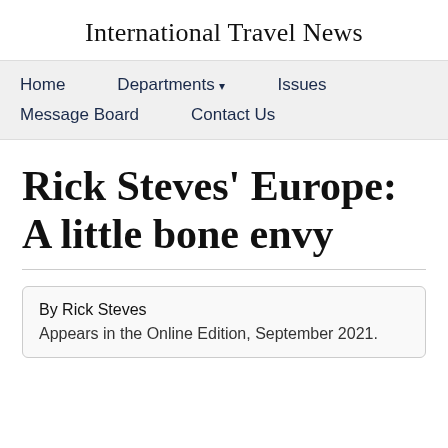International Travel News
Home   Departments ▾   Issues   Message Board   Contact Us
Rick Steves' Europe: A little bone envy
By Rick Steves
Appears in the Online Edition, September 2021.